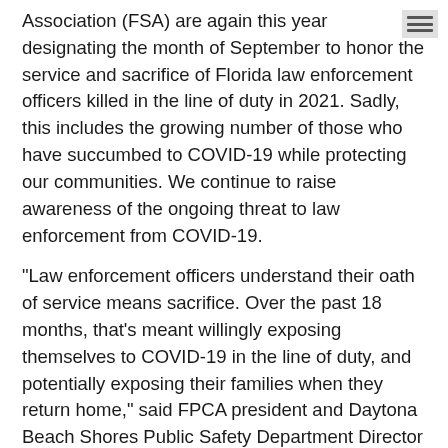Association (FSA) are again this year designating the month of September to honor the service and sacrifice of Florida law enforcement officers killed in the line of duty in 2021. Sadly, this includes the growing number of those who have succumbed to COVID-19 while protecting our communities. We continue to raise awareness of the ongoing threat to law enforcement from COVID-19.
“Law enforcement officers understand their oath of service means sacrifice. Over the past 18 months, that’s meant willingly exposing themselves to COVID-19 in the line of duty, and potentially exposing their families when they return home,” said FPCA president and Daytona Beach Shores Public Safety Department Director Stephan Dembinsky.
“So far this year, 21 officers gave all and made the ultimate sacrifice with their lives, including 14 who died from COVID-19, which is more than last year at this time,” said Dembinsky. “Now, to honor and remember their fallen…